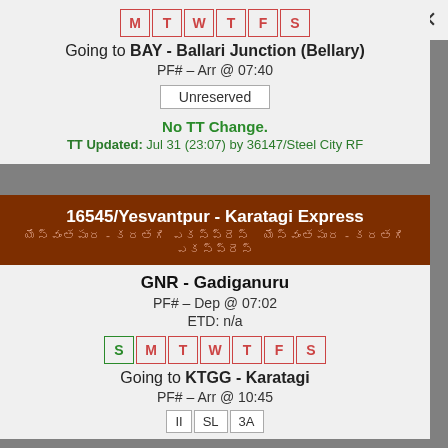M T W T F S
Going to BAY - Ballari Junction (Bellary)
PF# – Arr @ 07:40
Unreserved
No TT Change.
TT Updated: Jul 31 (23:07) by 36147/Steel City RF
16545/Yesvantpur - Karatagi Express
GNR - Gadiganuru
PF# – Dep @ 07:02
ETD: n/a
S M T W T F S
Going to KTGG - Karatagi
PF# – Arr @ 10:45
II SL 3A